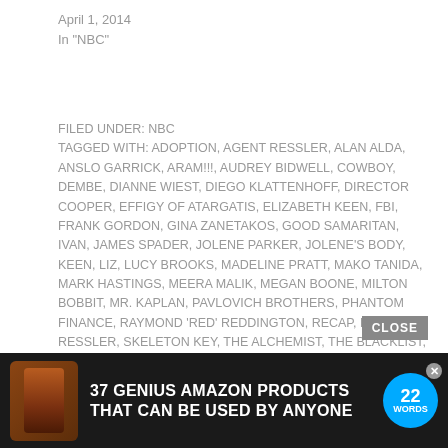April 1, 2014
In "NBC"
FILED UNDER: NBC
TAGGED WITH: ADOPTION, AGENT RESSLER, ALAN ALDA, ANSLO GARRICK, ARAM!!!, AUDREY BIDWELL, COWBOY, DEMBE, DIANNE WIEST, DIEGO KLATTENHOFF, DIRECTOR COOPER, EFFIGY OF ATARGATIS, ELIZABETH KEEN, FBI, FRANK GORDON, GINA ZANETAKOS, GOOD SAMARITAN, IVAN, JAMES SPADER, JOLENE PARKER, JOLENE'S BODY, KEEN, LIZ, LUCY BROOKS, MADELINE PRATT, MAKO TANIDA, MARK HASTINGS, MEERA MALIK, MEGAN BOONE, MILTON BOBBIT, MR. KAPLAN, PAVLOVICH BROTHERS, PHANTOM FINANCE, RAYMOND 'RED' REDDINGTON, RECAP, RED, RESSLER, SKELETON KEY, THE ALCHEMIST, THE BLACKLIST, THE FBI, THE GOOD SAMARITAN, THE JUDGE, THE KINGMAKER, TOM KEEN
[Figure (screenshot): Advertisement banner: dark background with supplement bottle image, text '37 GENIUS AMAZON PRODUCTS THAT CAN BE USED BY ANYONE', and a blue '22 Words' circular badge. A 'CLOSE' button appears above the ad.]